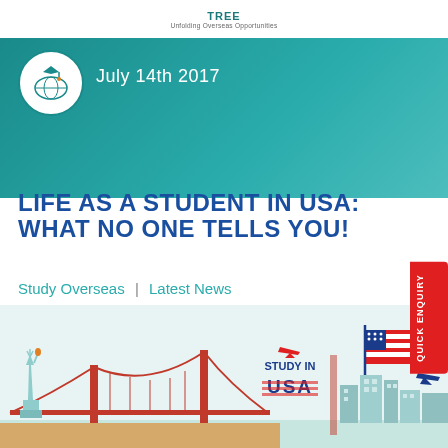TREE
Unfolding Overseas Opportunities
July 14th 2017
LIFE AS A STUDENT IN USA: WHAT NO ONE TELLS YOU!
Study Overseas | Latest News
[Figure (illustration): Study in USA promotional illustration with Statue of Liberty, Golden Gate Bridge, US flag, airplane, and city skyline]